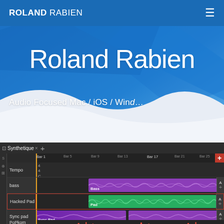ROLAND RABIEN
Roland Rabien
Audio Focused Mac / iOS / Wind…
[Figure (screenshot): DAW arranger/timeline screenshot showing tracks: Tempo, bass, Hacked Pad, Sync pad, PoPkorn Digital with colored audio regions (purple for bass, green for Hacked Pad, purple for Sync pad, red for PoPkorn Digital). Bar markers visible: Bar 1, Bar 5, Bar 9, Bar 13, Bar 17, Bar 21, Bar 25. Tab labeled 'Synthetique'.]